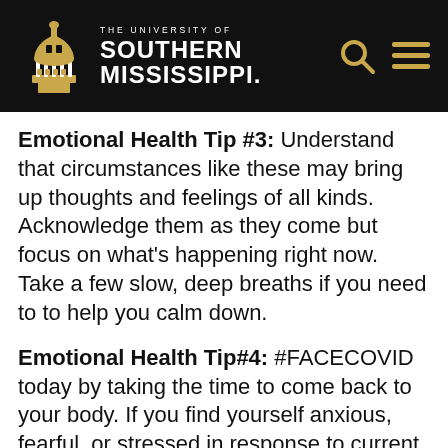The University of Southern Mississippi
Emotional Health Tip #3: Understand that circumstances like these may bring up thoughts and feelings of all kinds. Acknowledge them as they come but focus on what's happening right now. Take a few slow, deep breaths if you need to to help you calm down.
Emotional Health Tip#4: #FACECOVID today by taking the time to come back to your body. If you find yourself anxious, fearful, or stressed in response to current circumstances, take a moment to take a deep